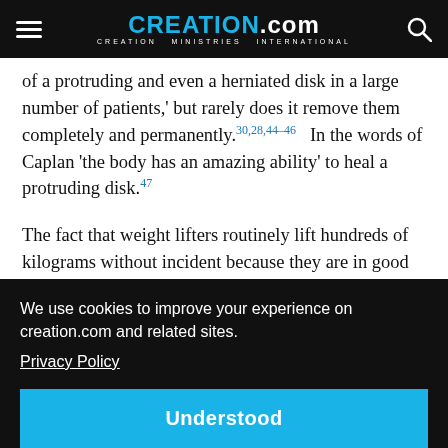CREATION.com — CREATION MINISTRIES INTERNATIONAL
of a protruding and even a herniated disk in a large number of patients,' but rarely does it remove them completely and permanently.30,28,44–46  In the words of Caplan 'the body has an amazing ability' to heal a protruding disk.47
The fact that weight lifters routinely lift hundreds of kilograms without incident because they are in good [shape means...] ...ns ...e ...ost
muscles act like the body's natural corset, supporting
We use cookies to improve your experience on creation.com and related sites. Privacy Policy
Understood